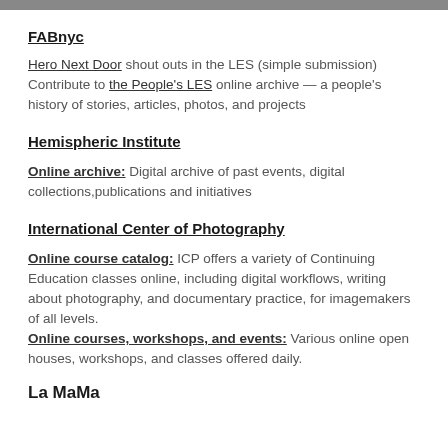FABnyc
Hero Next Door shout outs in the LES (simple submission) Contribute to the People's LES online archive — a people's history of stories, articles, photos, and projects
Hemispheric Institute
Online archive: Digital archive of past events, digital collections,publications and initiatives
International Center of Photography
Online course catalog: ICP offers a variety of Continuing Education classes online, including digital workflows, writing about photography, and documentary practice, for imagemakers of all levels. Online courses, workshops, and events: Various online open houses, workshops, and classes offered daily.
La MaMa